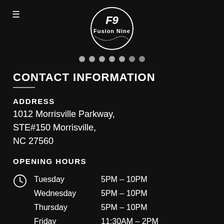[Figure (logo): Fusion Nine circular logo with stylized F9 text in white on black background]
CONTACT INFORMATION
ADDRESS
1012 Morrisville Parkway, STE#150 Morrisville, NC 27560
OPENING HOURS
Tuesday 5PM - 10PM
Wednesday 5PM - 10PM
Thursday 5PM - 10PM
Friday 11:30AM - 2PM
5PM - 10PM